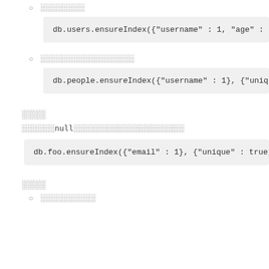░░░░░░░░
db.users.ensureIndex({"username" : 1, "age" :
░░░░░░░░░░░░░░░░░
db.people.ensureIndex({"username" : 1}, {"uniq
░░░░
░░░░░░null░░░░░░░░░░░░░░░░░░░░
db.foo.ensureIndex({"email" : 1}, {"unique" : true,
░░░░
░░░░░░░░░░